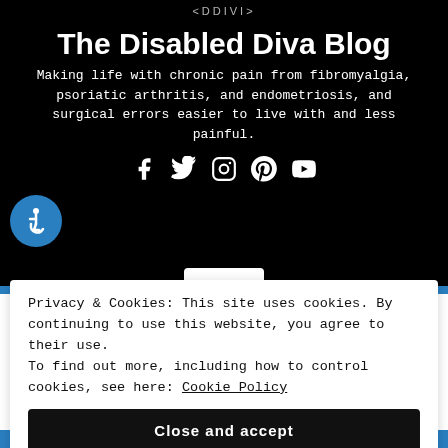EDDIVI
The Disabled Diva Blog
Making life with chronic pain from fibromyalgia, psoriatic arthritis, and endometriosis, and surgical errors easier to live with and less painful.
[Figure (logo): Blue circle with white wheelchair accessibility icon]
[Figure (infographic): Social media icons: Facebook, Twitter, Instagram, Pinterest, YouTube]
Privacy & Cookies: This site uses cookies. By continuing to use this website, you agree to their use. To find out more, including how to control cookies, see here: Cookie Policy
Close and accept